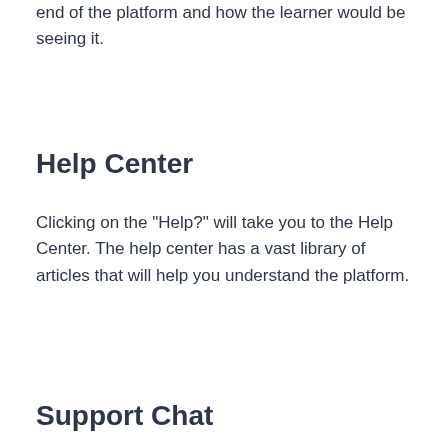end of the platform and how the learner would be seeing it.
Help Center
Clicking on the "Help?" will take you to the Help Center. The help center has a vast library of articles that will help you understand the platform.
Support Chat